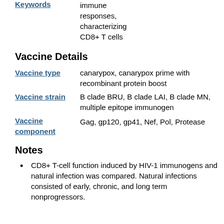immune responses, characterizing CD8+ T cells
Keywords
Vaccine Details
Vaccine type
canarypox, canarypox prime with recombinant protein boost
Vaccine strain
B clade BRU, B clade LAI, B clade MN, multiple epitope immunogen
Vaccine component
Gag, gp120, gp41, Nef, Pol, Protease
Notes
CD8+ T-cell function induced by HIV-1 immunogens and natural infection was compared. Natural infections consisted of early, chronic, and long term nonprogressors.